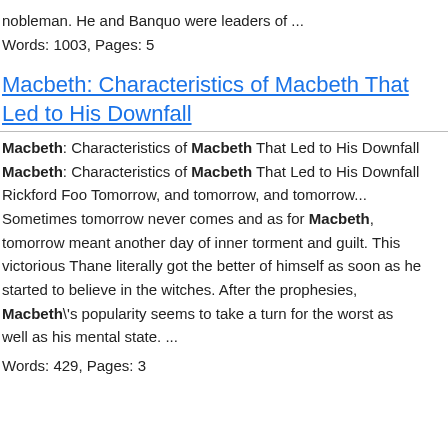nobleman. He and Banquo were leaders of ...
Words: 1003, Pages: 5
Macbeth: Characteristics of Macbeth That Led to His Downfall
Macbeth: Characteristics of Macbeth That Led to His Downfall Macbeth: Characteristics of Macbeth That Led to His Downfall Rickford Foo Tomorrow, and tomorrow, and tomorrow... Sometimes tomorrow never comes and as for Macbeth, tomorrow meant another day of inner torment and guilt. This victorious Thane literally got the better of himself as soon as he started to believe in the witches. After the prophesies, Macbeth\'s popularity seems to take a turn for the worst as well as his mental state. ...
Words: 429, Pages: 3